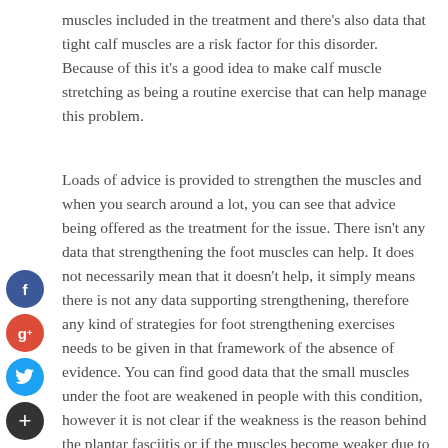muscles included in the treatment and there's also data that tight calf muscles are a risk factor for this disorder. Because of this it's a good idea to make calf muscle stretching as being a routine exercise that can help manage this problem.
Loads of advice is provided to strengthen the muscles and when you search around a lot, you can see that advice being offered as the treatment for the issue. There isn't any data that strengthening the foot muscles can help. It does not necessarily mean that it doesn't help, it simply means there is not any data supporting strengthening, therefore any kind of strategies for foot strengthening exercises needs to be given in that framework of the absence of evidence. You can find good data that the small muscles under the foot are weakened in people with this condition, however it is not clear if the weakness is the reason behind the plantar fasciitis or if the muscles become weaker due to the pain from the problem. As the muscles are weaker, it does appear sensible